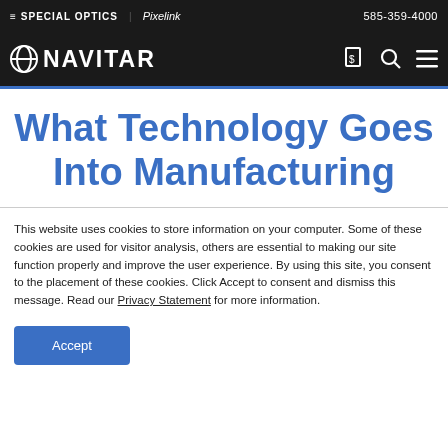≡SPECIAL OPTICS | Pixelink  585-359-4000
[Figure (logo): Navitar logo in white on dark background with navigation icons]
What Technology Goes Into Manufacturing
This website uses cookies to store information on your computer. Some of these cookies are used for visitor analysis, others are essential to making our site function properly and improve the user experience. By using this site, you consent to the placement of these cookies. Click Accept to consent and dismiss this message. Read our Privacy Statement for more information.
Accept